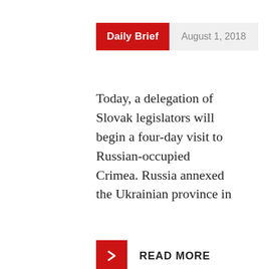Daily Brief  August 1, 2018
Today, a delegation of Slovak legislators will begin a four-day visit to Russian-occupied Crimea. Russia annexed the Ukrainian province in
READ MORE